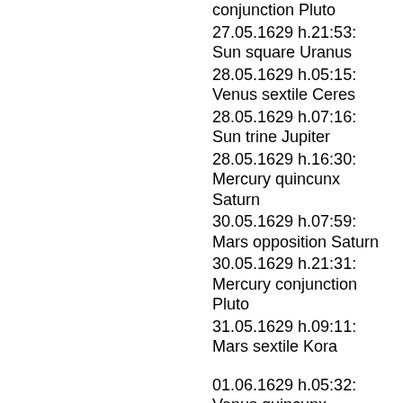conjunction Pluto
27.05.1629 h.21:53: Sun square Uranus
28.05.1629 h.05:15: Venus sextile Ceres
28.05.1629 h.07:16: Sun trine Jupiter
28.05.1629 h.16:30: Mercury quincunx Saturn
30.05.1629 h.07:59: Mars opposition Saturn
30.05.1629 h.21:31: Mercury conjunction Pluto
31.05.1629 h.09:11: Mars sextile Kora
01.06.1629 h.05:32: Venus quincunx Neptune
02.06.1629 h.00:54: Venus ingres Gemini
02.06.1629 h.11:32: Mercury sextile Ceres
04.06.1629 h.08:14: Mercury quincunx Neptune
04.06.1629 h.21:17: Mercury ingres Gemini